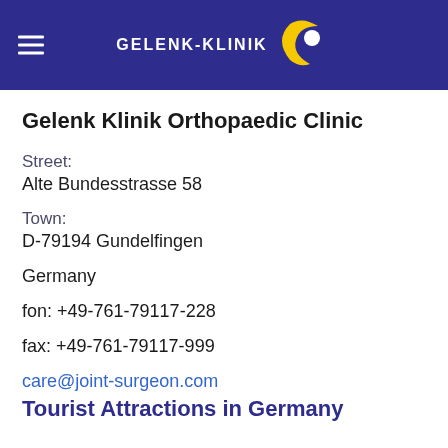GELENK-KLINIK
Gelenk Klinik Orthopaedic Clinic
Street:
Alte Bundesstrasse 58
Town:
D-79194 Gundelfingen
Germany
fon: +49-761-79117-228
fax: +49-761-79117-999
care@joint-surgeon.com
Tourist Attractions in Germany